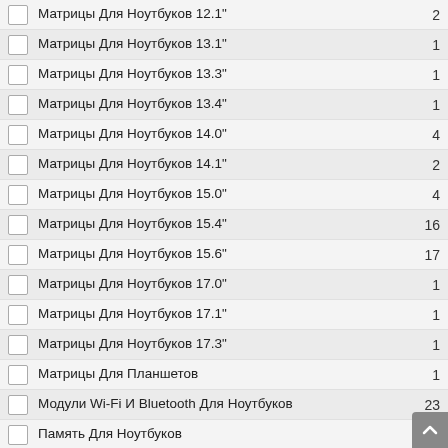Матрицы Для Ноутбуков 12.1"
Матрицы Для Ноутбуков 13.1"
Матрицы Для Ноутбуков 13.3"
Матрицы Для Ноутбуков 13.4"
Матрицы Для Ноутбуков 14.0"
Матрицы Для Ноутбуков 14.1"
Матрицы Для Ноутбуков 15.0"
Матрицы Для Ноутбуков 15.4"
Матрицы Для Ноутбуков 15.6"
Матрицы Для Ноутбуков 17.0"
Матрицы Для Ноутбуков 17.1"
Матрицы Для Ноутбуков 17.3"
Матрицы Для Планшетов
Модули Wi-Fi И Bluetooth Для Ноутбуков
Память Для Ноутбуков